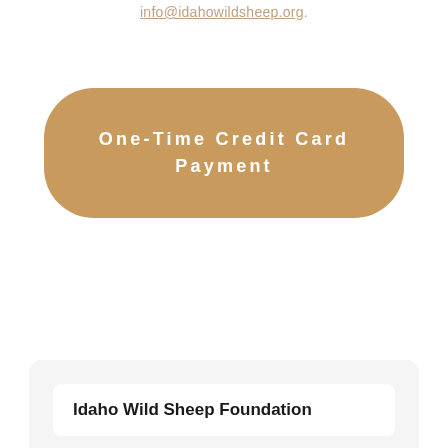info@idahowildsheep.org.
[Figure (other): A rounded rectangular button with tan/gold background color (#c99a5e) containing the text 'One-Time Credit Card Payment' in white, bold, letter-spaced font.]
Idaho Wild Sheep Foundation